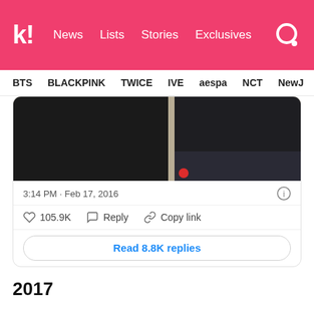k! News  Lists  Stories  Exclusives
BTS  BLACKPINK  TWICE  IVE  aespa  NCT  NewJ
[Figure (photo): Partial photo showing dark clothing items including a black garment and dark jacket on a light wooden surface]
3:14 PM · Feb 17, 2016
105.9K  Reply  Copy link
Read 8.8K replies
2017
“Yoonji’s mom #itssugahyung #happybirthdayhobi # soulpartner #sope #ifsugaistheleaderthensope